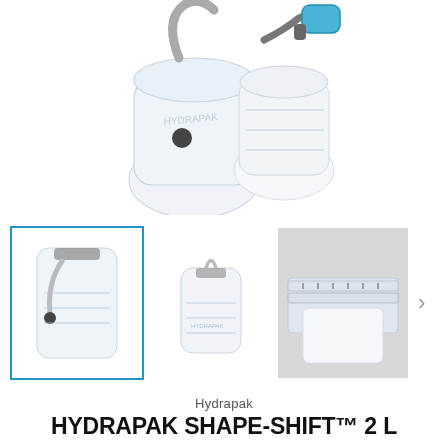[Figure (photo): Main product image showing a Hydrapak Shape-Shift hydration reservoir with drinking tube and blue bite valve connector, viewed from above/partially cropped at top]
[Figure (photo): Thumbnail row: first thumbnail (selected, blue border) showing full Hydrapak Shape-Shift 2L reservoir with tube; second thumbnail showing just the reservoir body; third thumbnail (grey background) showing close-up of the closure/seal mechanism; right arrow navigation button]
Hydrapak
HYDRAPAK SHAPE-SHIFT™ 2 L
$49.00 CAD
Shipping calculated at checkout.